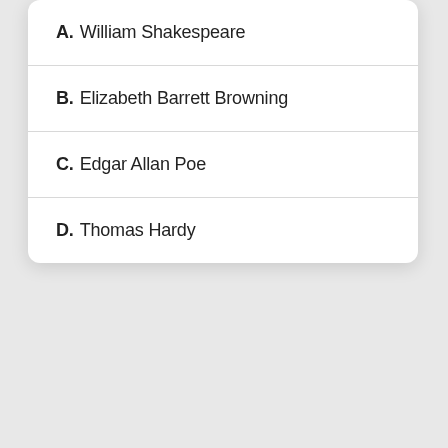A. William Shakespeare
B. Elizabeth Barrett Browning
C. Edgar Allan Poe
D. Thomas Hardy